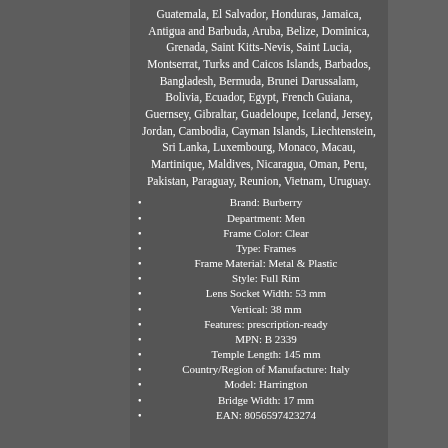Guatemala, El Salvador, Honduras, Jamaica, Antigua and Barbuda, Aruba, Belize, Dominica, Grenada, Saint Kitts-Nevis, Saint Lucia, Montserrat, Turks and Caicos Islands, Barbados, Bangladesh, Bermuda, Brunei Darussalam, Bolivia, Ecuador, Egypt, French Guiana, Guernsey, Gibraltar, Guadeloupe, Iceland, Jersey, Jordan, Cambodia, Cayman Islands, Liechtenstein, Sri Lanka, Luxembourg, Monaco, Macau, Martinique, Maldives, Nicaragua, Oman, Peru, Pakistan, Paraguay, Reunion, Vietnam, Uruguay.
Brand: Burberry
Department: Men
Frame Color: Clear
Type: Frames
Frame Material: Metal & Plastic
Style: Full Rim
Lens Socket Width: 53 mm
Vertical: 38 mm
Features: prescription-ready
MPN: B 2339
Temple Length: 145 mm
Country/Region of Manufacture: Italy
Model: Harrington
Bridge Width: 17 mm
EAN: 8056597423274